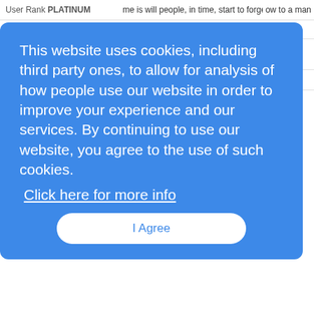User Rank PLATINUM
me is will people, in time, start to forget how to actually driv... ow to a man...
[Figure (screenshot): Cookie consent overlay with blue background. Text reads: 'This website uses cookies, including third party ones, to allow for analysis of how people use our website in order to improve your experience and our services. By continuing to use our website, you agree to the use of such cookies. Click here for more info'. Button labeled 'I Agree'.]
User Rank PLATINUM   Reply   Post Message   Messages List   Start a Board
batye
2/3/2018 12:19:59 AM
User Rank PLATINUM
Re: Cars
@mhhf1ve thanks for the link interesting reading - the way... nature is to resist change... same with changes in technolo... nature...
Reply   Post Message   Messages List   Start a Board
Re: Cars
Teslas do come to a stop eventually when the driver stops... the Autopilot system.. but recently, I think there was a dru...